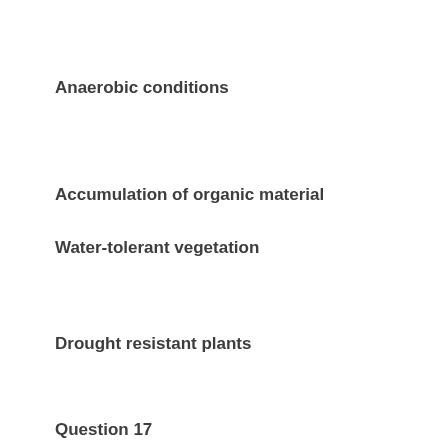Anaerobic conditions
Accumulation of organic material
Water-tolerant vegetation
Drought resistant plants
Question 17